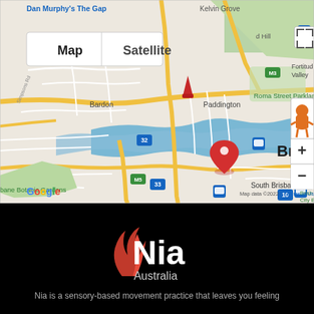[Figure (map): Google Maps screenshot showing Brisbane area including Paddington, South Brisbane, West End, Toowong, Brisbane Botanic Gardens, Roma Street Parkland, Fortitude Valley. A red location pin is dropped in South Brisbane. Map controls (Map/Satellite toggle, zoom +/-, fullscreen, Street View) are visible. Map data ©2022, Terms of Use shown in bottom right.]
[Figure (logo): Nia Australia logo on black background — stylized red swoosh/flame icon beside white text 'Nia' with 'Australia' in smaller white text below]
Nia is a sensory-based movement practice that leaves you feeling